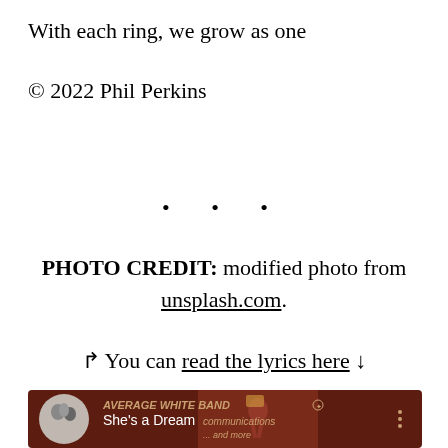With each ring, we grow as one
© 2022 Phil Perkins
• • •
PHOTO CREDIT: modified photo from unsplash.com.
↱ You can read the lyrics here ↓
[Figure (screenshot): Music player card showing Average White Band - She's a Dream, with album art on a dark brown background]